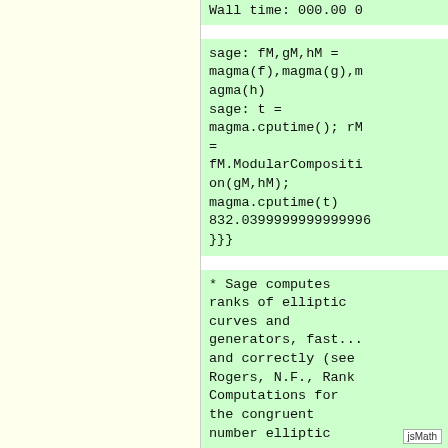Wall time: 000.00 0
sage: fM,gM,hM = magma(f),magma(g),magma(h)
sage: t = magma.cputime(); rM = fM.ModularComposition(gM,hM); magma.cputime(t)
832.0399999999999996
}}}
* Sage computes ranks of elliptic curves and generators, fast... and correctly (see Rogers, N.F., Rank Computations for the congruent number elliptic curves, Experimental Mathematics, 9